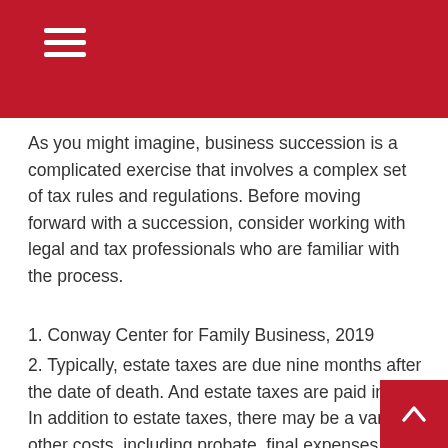As you might imagine, business succession is a complicated exercise that involves a complex set of tax rules and regulations. Before moving forward with a succession, consider working with legal and tax professionals who are familiar with the process.
1. Conway Center for Family Business, 2019
2. Typically, estate taxes are due nine months after the date of death. And estate taxes are paid in cash. In addition to estate taxes, there may be a variety of other costs, including probate, final expenses, and administration fees.
The content is developed from sources believed to be providing accurate information. The information in this material is not intended as tax or legal advice. It may not be used for the purpose of avoiding any federal tax penalties. Please consult legal or tax professionals for specific information regarding your individual situation. This material was developed and produced by FMG Suite...